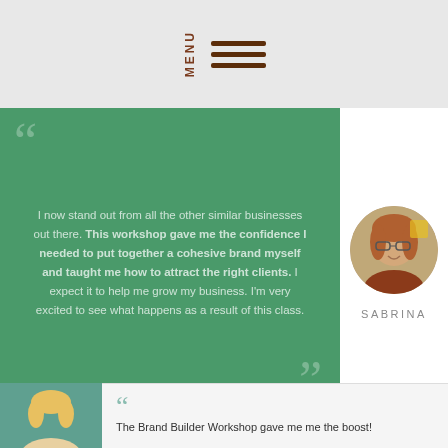MENU
I now stand out from all the other similar businesses out there. This workshop gave me the confidence I needed to put together a cohesive brand myself and taught me how to attract the right clients. I expect it to help me grow my business. I'm very excited to see what happens as a result of this class.
SABRINA
[Figure (photo): Broken image placeholder labeled Sabrina-worshop.jpg]
[Figure (photo): Bottom testimonial section with teal profile image area and quote beginning 'The Brand Builder Workshop gave me me the boost!']